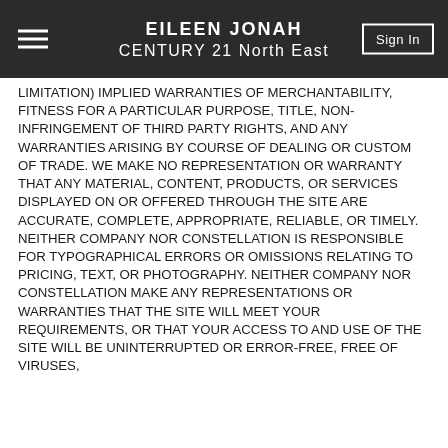EILEEN JONAH
CENTURY 21 North East
LIMITATION) IMPLIED WARRANTIES OF MERCHANTABILITY, FITNESS FOR A PARTICULAR PURPOSE, TITLE, NON-INFRINGEMENT OF THIRD PARTY RIGHTS, AND ANY WARRANTIES ARISING BY COURSE OF DEALING OR CUSTOM OF TRADE. WE MAKE NO REPRESENTATION OR WARRANTY THAT ANY MATERIAL, CONTENT, PRODUCTS, OR SERVICES DISPLAYED ON OR OFFERED THROUGH THE SITE ARE ACCURATE, COMPLETE, APPROPRIATE, RELIABLE, OR TIMELY. NEITHER COMPANY NOR CONSTELLATION IS RESPONSIBLE FOR TYPOGRAPHICAL ERRORS OR OMISSIONS RELATING TO PRICING, TEXT, OR PHOTOGRAPHY. NEITHER COMPANY NOR CONSTELLATION MAKE ANY REPRESENTATIONS OR WARRANTIES THAT THE SITE WILL MEET YOUR REQUIREMENTS, OR THAT YOUR ACCESS TO AND USE OF THE SITE WILL BE UNINTERRUPTED OR ERROR-FREE, FREE OF VIRUSES, MALICIOUS CODE OR OTHER HARMFUL...